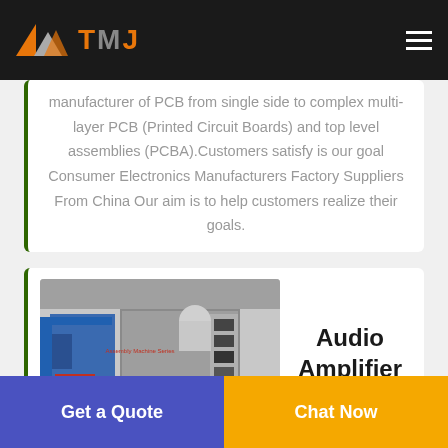TMJ
manufacturer of PCB from single side to complex multi-layer PCB (Printed Circuit Boards) and top level assemblies (PCBA).Customers satisfy is our goal Consumer Electronics Manufacturers Factory Suppliers From China Our aim is to help customers realize their goals.
[Figure (photo): Industrial manufacturing facility with large machinery and workers in hard hats]
Audio Amplifier
Get a Quote
Chat Now